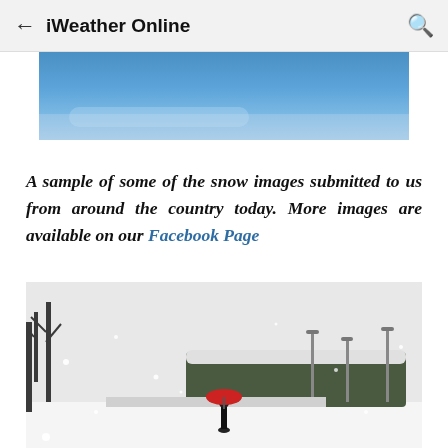← iWeather Online 🔍
[Figure (photo): Partial blue sky image, cropped at top and bottom, showing a bright blue sky with slight clouds or haze.]
A sample of some of the snow images submitted to us from around the country today. More images are available on our Facebook Page
[Figure (photo): Black and white snow scene showing a person holding a red umbrella standing on a snowy path, with snow-covered trees and street lights in the background, snowflakes visible in the air.]